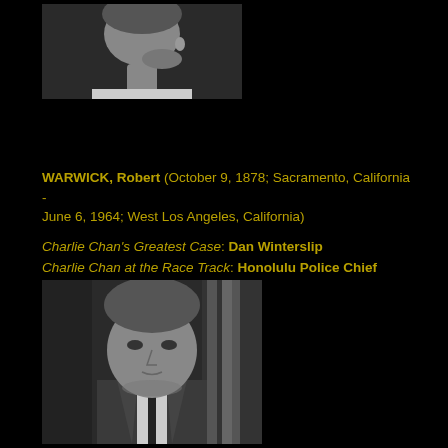[Figure (photo): Black and white photo of a woman, partial face and neck visible, looking slightly upward]
WARWICK, Robert (October 9, 1878; Sacramento, California - June 6, 1964; West Los Angeles, California)
Charlie Chan's Greatest Case: Dan Winterslip
Charlie Chan at the Race Track: Honolulu Police Chief Inspector
[Figure (photo): Black and white photo of a man in a suit, serious expression, looking slightly to the side]